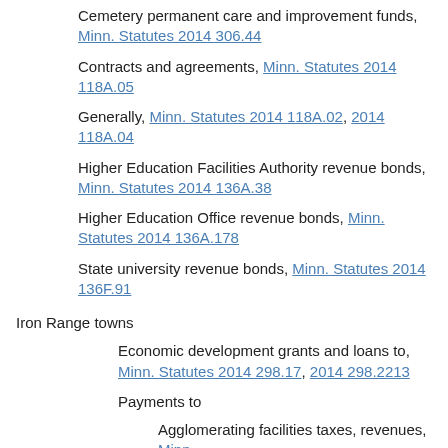Cemetery permanent care and improvement funds, Minn. Statutes 2014 306.44
Contracts and agreements, Minn. Statutes 2014 118A.05
Generally, Minn. Statutes 2014 118A.02, 2014 118A.04
Higher Education Facilities Authority revenue bonds, Minn. Statutes 2014 136A.38
Higher Education Office revenue bonds, Minn. Statutes 2014 136A.178
State university revenue bonds, Minn. Statutes 2014 136F.91
Iron Range towns
Economic development grants and loans to, Minn. Statutes 2014 298.17, 2014 298.2213
Payments to
Agglomerating facilities taxes, revenues, Minn.